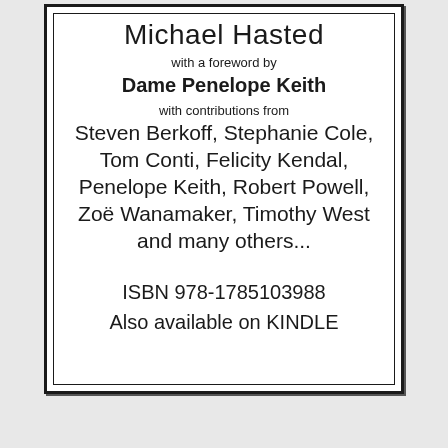Michael Hasted
with a foreword by
Dame Penelope Keith
with contributions from
Steven Berkoff, Stephanie Cole, Tom Conti, Felicity Kendal, Penelope Keith, Robert Powell, Zoë Wanamaker, Timothy West and many others...
ISBN 978-1785103988
Also available on KINDLE